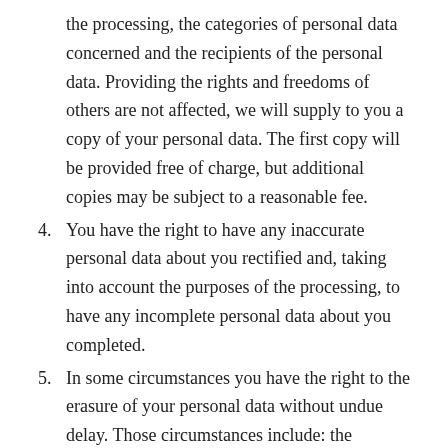the processing, the categories of personal data concerned and the recipients of the personal data. Providing the rights and freedoms of others are not affected, we will supply to you a copy of your personal data. The first copy will be provided free of charge, but additional copies may be subject to a reasonable fee.
4. You have the right to have any inaccurate personal data about you rectified and, taking into account the purposes of the processing, to have any incomplete personal data about you completed.
5. In some circumstances you have the right to the erasure of your personal data without undue delay. Those circumstances include: the personal data are no longer necessary in relation to the purposes for which they were collected or